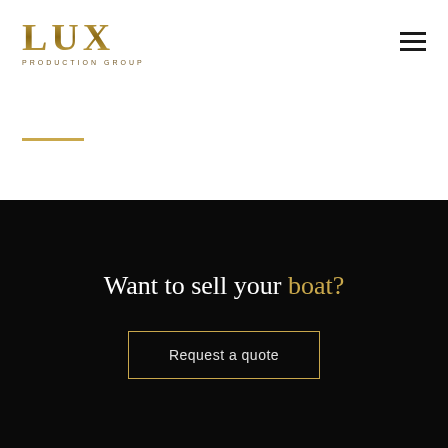[Figure (logo): LUX Production Group logo — gold serif LUX text with 'PRODUCTION GROUP' subtitle]
Want to sell your boat?
Request a quote